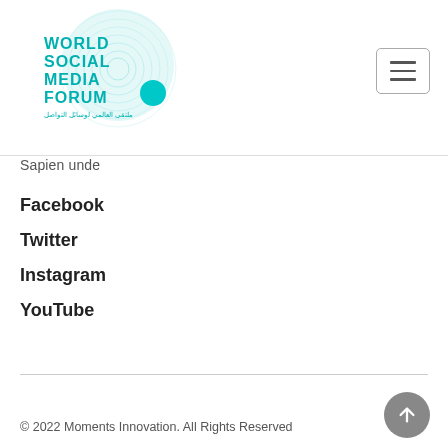[Figure (logo): World Social Media Forum logo with teal circular wave design and teal dot]
[Figure (other): Hamburger menu button (three horizontal lines in a rounded rectangle)]
Sapien unde
Facebook
Twitter
Instagram
YouTube
© 2022 Moments Innovation. All Rights Reserved